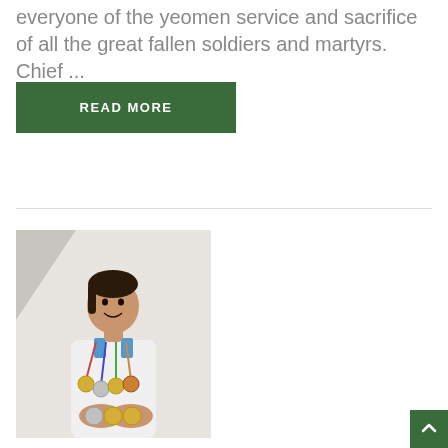everyone of the yeomen service and sacrifice of all the great fallen soldiers and martyrs. Chief ...
READ MORE
[Figure (photo): A young girl in a white school uniform smiling and displaying multiple sports medals around her neck and in her hands, standing against a light-colored wall.]